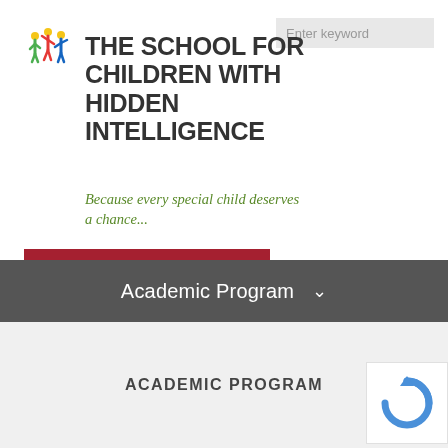[Figure (logo): Colorful cartoon children figures logo for SCHI school]
[Figure (screenshot): Search input box with placeholder text 'Enter keyword']
THE SCHOOL FOR CHILDREN WITH HIDDEN INTELLIGENCE
Because every special child deserves a chance...
♥ Help SCHI. Donate Now
Academic Program
ACADEMIC PROGRAM
[Figure (logo): reCAPTCHA icon — blue circular arrow badge]